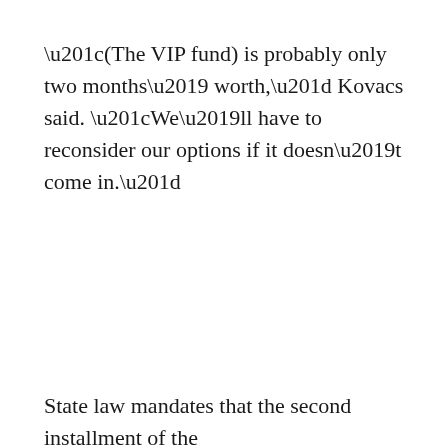“(The VIP fund) is probably only two months’ worth,” Kovacs said. “We’ll have to reconsider our options if it doesn’t come in.”
State law mandates that the second installment of the